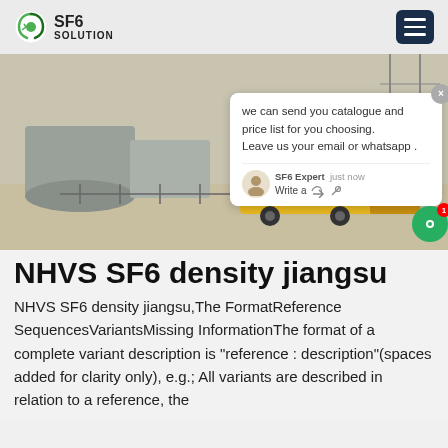SF6 SOLUTION
[Figure (photo): Outdoor electrical substation with grey SF6 equipment cylinders and a yellow ISUZU truck parked nearby, with power transmission infrastructure in background. A chat popup overlay is visible on the right side of the image showing a message: 'we can send you catalogue and price list for you choosing. Leave us your email or whatsapp .' with SF6 Expert label and 'just now' timestamp.]
NHVS SF6 density jiangsu
NHVS SF6 density jiangsu,The FormatReference SequencesVariantsMissing InformationThe format of a complete variant description is "reference : description"(spaces added for clarity only), e.g.; All variants are described in relation to a reference, the